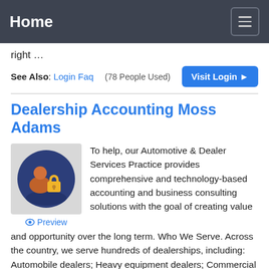Home
right …
See Also: Login Faq  (78 People Used)  Visit Login
Dealership Accounting Moss Adams
[Figure (illustration): Icon of a person silhouette with a padlock, on a dark blue circular background. Below it a 'Preview' link with an eye icon.]
To help, our Automotive & Dealer Services Practice provides comprehensive and technology-based accounting and business consulting solutions with the goal of creating value and opportunity over the long term. Who We Serve. Across the country, we serve hundreds of dealerships, including: Automobile dealers; Heavy equipment dealers; Commercial
See Also: Login Faq  (49 People Used)  Visit L